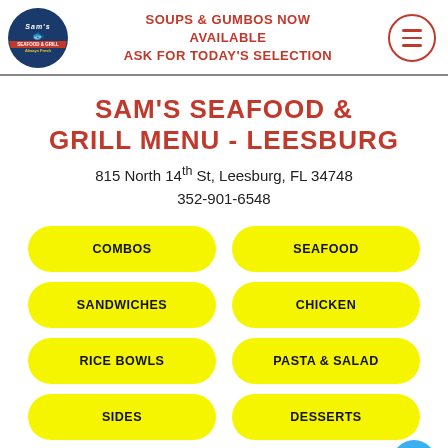SOUPS & GUMBOS NOW AVAILABLE ASK FOR TODAY'S SELECTION
SAM'S SEAFOOD & GRILL MENU - LEESBURG
815 North 14th St, Leesburg, FL 34748
352-901-6548
COMBOS
SEAFOOD
SANDWICHES
CHICKEN
RICE BOWLS
PASTA & SALAD
SIDES
DESSERTS
DRINKS